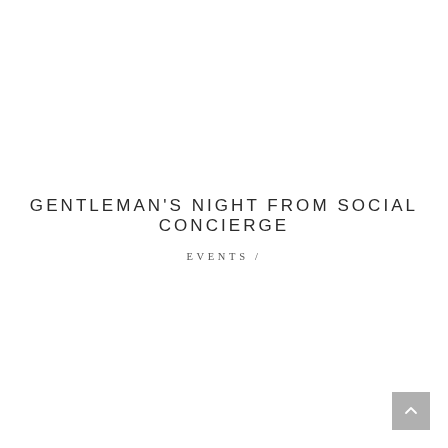GENTLEMAN'S NIGHT FROM SOCIAL CONCIERGE
EVENTS /